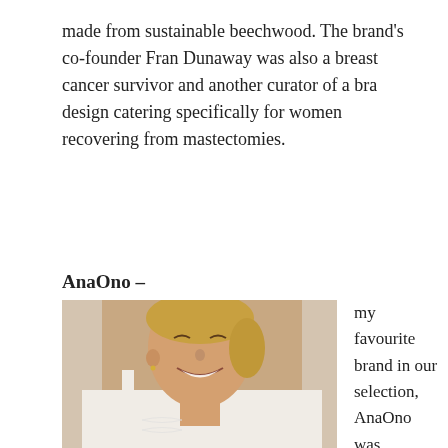made from sustainable beechwood. The brand's co-founder Fran Dunaway was also a breast cancer survivor and another curator of a bra design catering specifically for women recovering from mastectomies.
AnaOno –
[Figure (photo): A smiling woman with blonde hair pulled back, wearing a white sleeveless tank top, photographed from the shoulders up against a light background.]
my favourite brand in our selection, AnaOno was founded by a breast cancer survivor and helps women navigate their struggle to find the